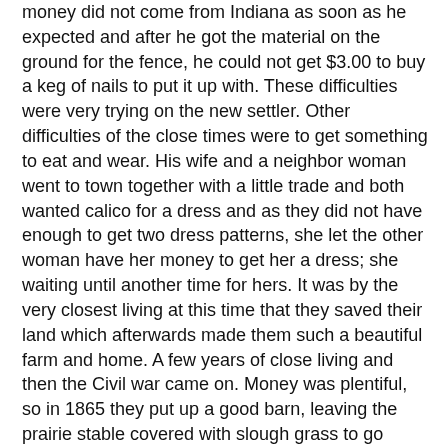money did not come from Indiana as soon as he expected and after he got the material on the ground for the fence, he could not get $3.00 to buy a keg of nails to put it up with. These difficulties were very trying on the new settler. Other difficulties of the close times were to get something to eat and wear. His wife and a neighbor woman went to town together with a little trade and both wanted calico for a dress and as they did not have enough to get two dress patterns, she let the other woman have her money to get her a dress; she waiting until another time for hers. It was by the very closest living at this time that they saved their land which afterwards made them such a beautiful farm and home. A few years of close living and then the Civil war came on. Money was plentiful, so in 1865 they put up a good barn, leaving the prairie stable covered with slough grass to go down and not many years after they put up a better house with cellar under it and had a very convenient farm and home which he enjoyed to the fullest extent. He was not anxious to add to it; but helped their children, as they left home, to homes of their own and theirs was a pleasant family.
They were members of the Methodist church. In 1872 they heard the doctrine of the First Day Adventists preached and accepted it as Bible truth and lived the same, the children following in some points of the same, for it led the children